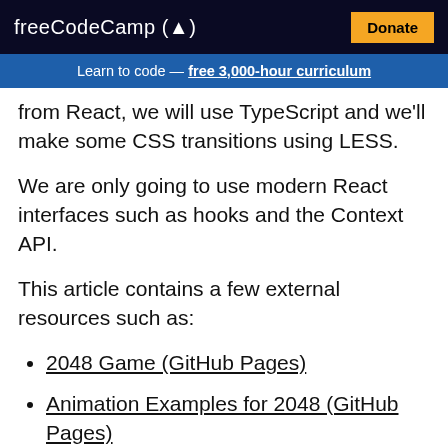freeCodeCamp (flame) Donate
Learn to code — free 3,000-hour curriculum
from React, we will use TypeScript and we'll make some CSS transitions using LESS.
We are only going to use modern React interfaces such as hooks and the Context API.
This article contains a few external resources such as:
2048 Game (GitHub Pages)
Animation Examples for 2048 (GitHub Pages)